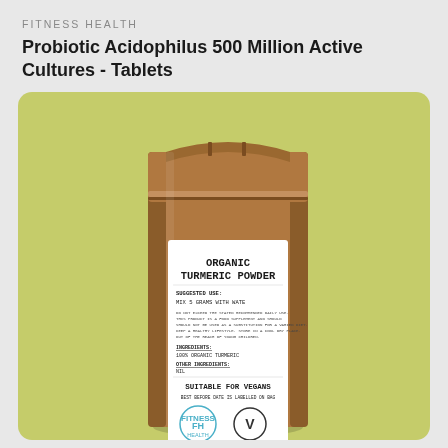FITNESS HEALTH
Probiotic Acidophilus 500 Million Active Cultures - Tablets
[Figure (photo): Product photo of a kraft brown resealable pouch bag with a white label reading 'ORGANIC TURMERIC POWDER' with suggested use instructions, ingredients (100% Organic Turmeric), 'SUITABLE FOR VEGANS', 'MADE IN THE UK', and Fitness Health logo, set against a yellow-green background.]